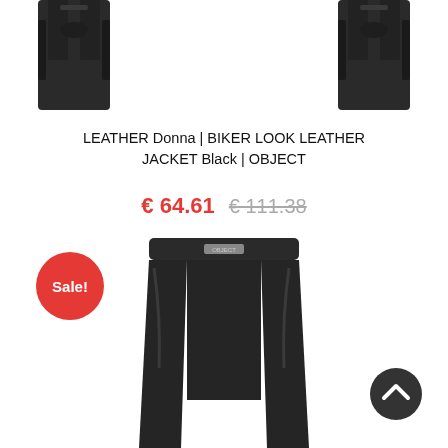[Figure (photo): Two partial views of a black biker look leather jacket (LEATHER Donna) against a white background, shown at top of page]
LEATHER Donna | BIKER LOOK LEATHER JACKET Black | OBJECT
€ 64.61  € 111.38
[Figure (photo): Black leather-look leggings displayed on white background with a red Sale! badge in the top left corner]
[Figure (other): Dark circular back-to-top button with upward chevron arrow]